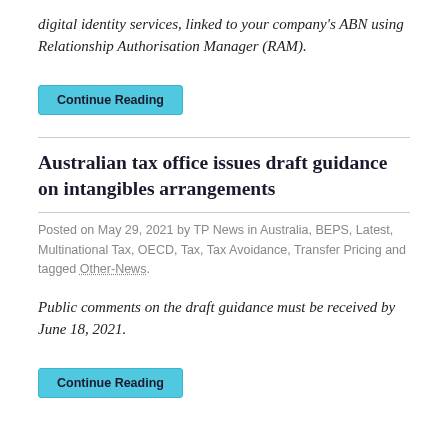digital identity services, linked to your company's ABN using Relationship Authorisation Manager (RAM).
Continue Reading
Australian tax office issues draft guidance on intangibles arrangements
Posted on May 29, 2021 by TP News in Australia, BEPS, Latest, Multinational Tax, OECD, Tax, Tax Avoidance, Transfer Pricing and tagged Other-News.
Public comments on the draft guidance must be received by June 18, 2021.
Continue Reading